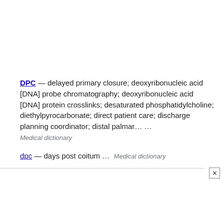DPC — delayed primary closure; deoxyribonucleic acid [DNA] probe chromatography; deoxyribonucleic acid [DNA] protein crosslinks; desaturated phosphatidylcholine; diethylpyrocarbonate; direct patient care; discharge planning coordinator; distal palmar… … Medical dictionary
dpc — days post coitum … Medical dictionary